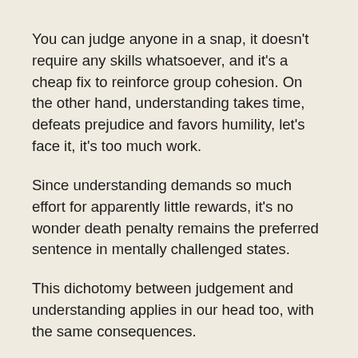You can judge anyone in a snap, it doesn't require any skills whatsoever, and it's a cheap fix to reinforce group cohesion. On the other hand, understanding takes time, defeats prejudice and favors humility, let's face it, it's too much work.
Since understanding demands so much effort for apparently little rewards, it's no wonder death penalty remains the preferred sentence in mentally challenged states.
This dichotomy between judgement and understanding applies in our head too, with the same consequences.
What comes first to our mind when we screw up? The wish to debug the situation or sheer blame?